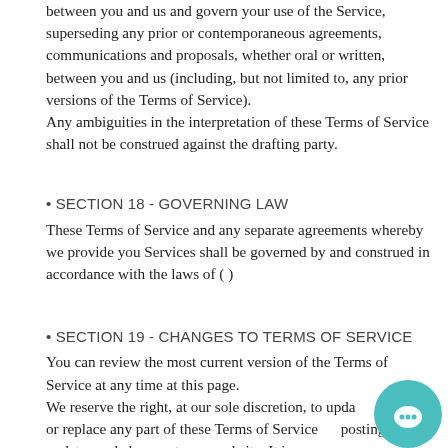between you and us and govern your use of the Service, superseding any prior or contemporaneous agreements, communications and proposals, whether oral or written, between you and us (including, but not limited to, any prior versions of the Terms of Service). Any ambiguities in the interpretation of these Terms of Service shall not be construed against the drafting party.
• SECTION 18 - GOVERNING LAW
These Terms of Service and any separate agreements whereby we provide you Services shall be governed by and construed in accordance with the laws of ( )
• SECTION 19 - CHANGES TO TERMS OF SERVICE
You can review the most current version of the Terms of Service at any time at this page. We reserve the right, at our sole discretion, to update, change or replace any part of these Terms of Service by posting updates and changes to our website. It is your